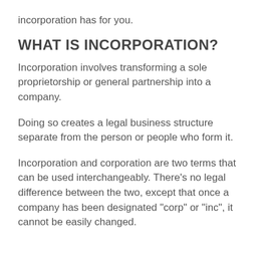incorporation has for you.
WHAT IS INCORPORATION?
Incorporation involves transforming a sole proprietorship or general partnership into a company.
Doing so creates a legal business structure separate from the person or people who form it.
Incorporation and corporation are two terms that can be used interchangeably. There's no legal difference between the two, except that once a company has been designated "corp" or "inc", it cannot be easily changed.